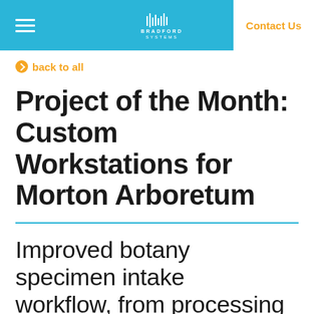Bradford Systems navigation bar with hamburger menu, Bradford Systems logo, and Contact Us link
back to all
Project of the Month: Custom Workstations for Morton Arboretum
Improved botany specimen intake workflow, from processing